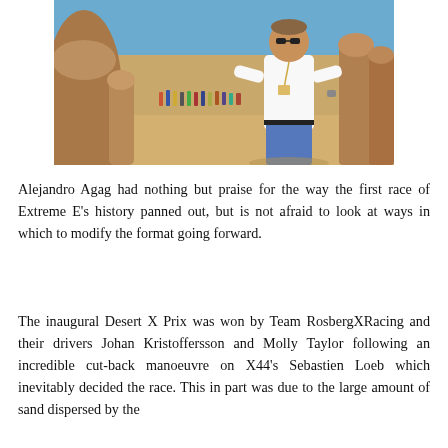[Figure (photo): A man in a white shirt, sunglasses, and jeans with an event lanyard stands in a desert landscape with rocky formations in the background. A group of people can be seen in the distance behind him.]
Alejandro Agag had nothing but praise for the way the first race of Extreme E's history panned out, but is not afraid to look at ways in which to modify the format going forward.
The inaugural Desert X Prix was won by Team RosbergXRacing and their drivers Johan Kristoffersson and Molly Taylor following an incredible cut-back manoeuvre on X44's Sebastien Loeb which inevitably decided the race. This in part was due to the large amount of sand dispersed by the